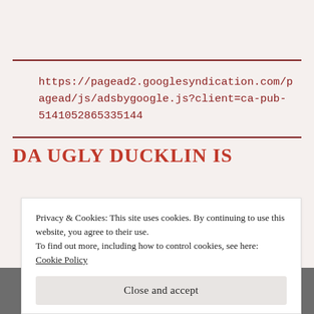https://pagead2.googlesyndication.com/pagead/js/adsbygoogle.js?client=ca-pub-5141052865335144
DA UGLY DUCKLIN IS
Privacy & Cookies: This site uses cookies. By continuing to use this website, you agree to their use.
To find out more, including how to control cookies, see here: Cookie Policy
Close and accept
OHHHHHH YEAH, WE DID IT!!! HALLELUJAH AND